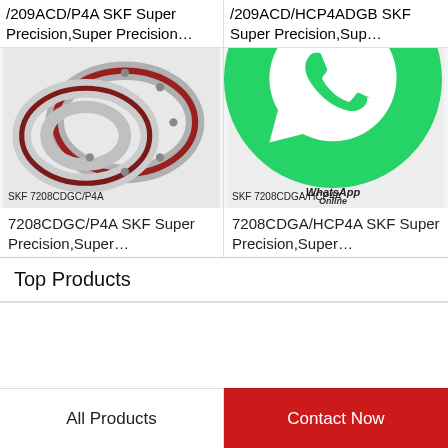/209ACD/P4A SKF Super Precision,Super Precision…
/209ACD/HCP4ADGB SKF Super Precision,Sup…
[Figure (photo): SKF 7208CDGC/P4A angular contact ball bearing, two silver/chrome rings with red accent, shown pair]
[Figure (photo): SKF 7208CDGA/HCP4A angular contact ball bearing, two silver/chrome rings with dark red accent, shown pair, with WhatsApp Online overlay]
7208CDGC/P4A SKF Super Precision,Super…
7208CDGA/HCP4A SKF Super Precision,Super…
Top Products
All Products
Contact Now